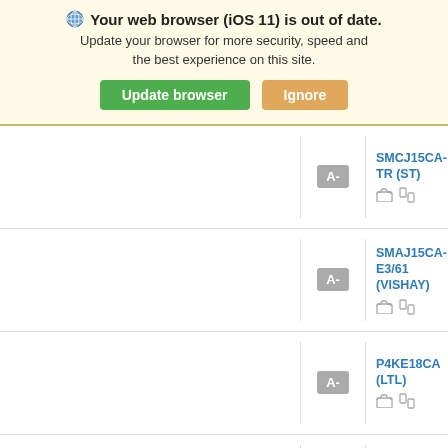[Figure (screenshot): Browser out-of-date warning banner for iOS 11 with 'Update browser' (green) and 'Ignore' (orange) buttons on a light yellow background]
| (left) | Grade | Part |
| --- | --- | --- |
|  | A- | SMCJ15CA-TR (ST) |
|  | A- | SMAJ15CA-E3/61 (VISHAY) |
|  | A- | P4KE18CA (LTL) |
|  | A- | BZW04-15B (ST) |
|  |  | SMAJ15CA (ST) |